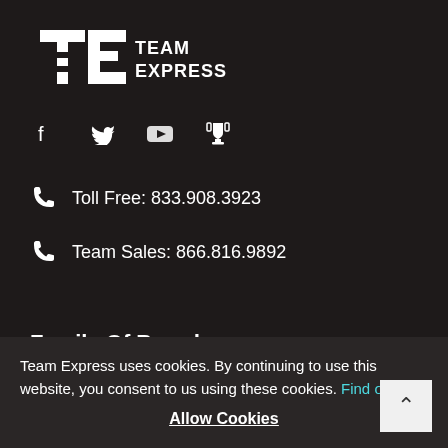[Figure (logo): Team Express logo — stylized TE monogram with 'TEAM EXPRESS' text in white on dark background]
[Figure (infographic): Social media icons: Facebook, Twitter, YouTube, Trophy/rewards — white icons on dark background]
Toll Free: 833.908.3923
Team Sales: 866.816.9892
Family Of Brands
Baseball Express
Softball.com
Footwear etc
Team Express
Team Express uses cookies. By continuing to use this website, you consent to us using these cookies. Find out more
Allow Cookies